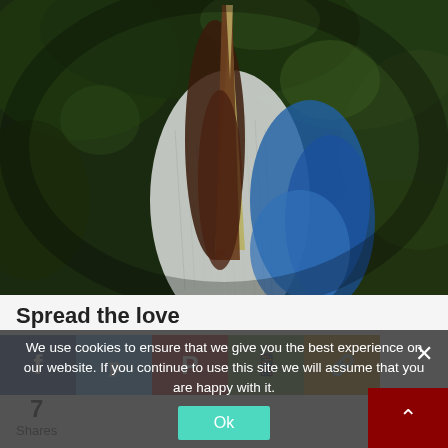[Figure (photo): Close-up photograph of a bird (pelican or heron) with a long beak pointing upward, visible detailed feathers on neck/chest area with blue and white plumage, dark green blurred foliage background]
Spread the love
[Figure (infographic): Social share buttons row: Facebook (blue), Twitter (light blue), Pinterest (red), WhatsApp (green), Link/other (gold/tan). Shows 7 Shares count below.]
7
Shares
We use cookies to ensure that we give you the best experience on our website. If you continue to use this site we will assume that you are happy with it.
Ok